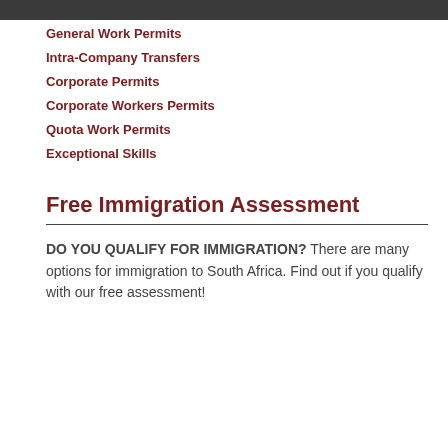General Work Permits
Intra-Company Transfers
Corporate Permits
Corporate Workers Permits
Quota Work Permits
Exceptional Skills
Free Immigration Assessment
DO YOU QUALIFY FOR IMMIGRATION? There are many options for immigration to South Africa. Find out if you qualify with our free assessment!